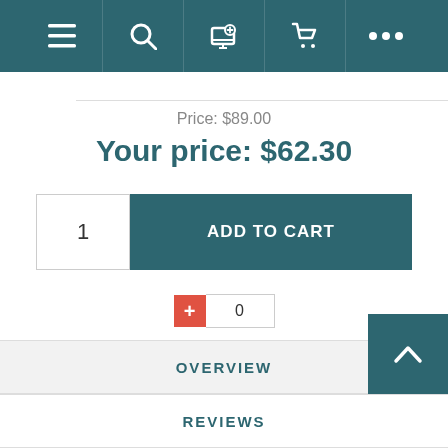[Figure (screenshot): Navigation bar with teal background containing hamburger menu, search, computer-plus, cart, and ellipsis icons]
Price: $89.00
Your price: $62.30
[Figure (screenshot): Add to cart row with quantity input showing 1 and teal ADD TO CART button]
[Figure (screenshot): Wishlist row with red plus button and count box showing 0]
OVERVIEW
REVIEWS